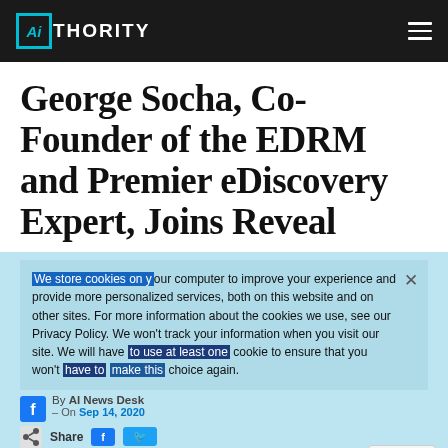AIthority
George Socha, Co-Founder of the EDRM and Premier eDiscovery Expert, Joins Reveal
We store cookies on your computer to improve your experience and provide more personalized services, both on this website and on other sites. For more information about the cookies we use, see our Privacy Policy. We won't track your information when you visit our site. We will have to use at least one cookie to ensure that you won't have to make this choice again.
By AI News Desk
– On Sep 14, 2020
Accept  Decline  Privacy Policy
Share
Reveal adds eDiscovery veteran to